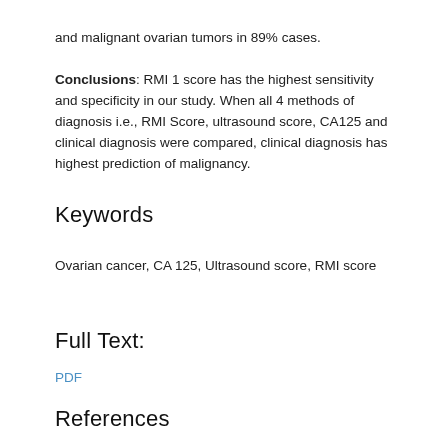and malignant ovarian tumors in 89% cases. Conclusions: RMI 1 score has the highest sensitivity and specificity in our study. When all 4 methods of diagnosis i.e., RMI Score, ultrasound score, CA125 and clinical diagnosis were compared, clinical diagnosis has highest prediction of malignancy.
Keywords
Ovarian cancer, CA 125, Ultrasound score, RMI score
Full Text:
PDF
References